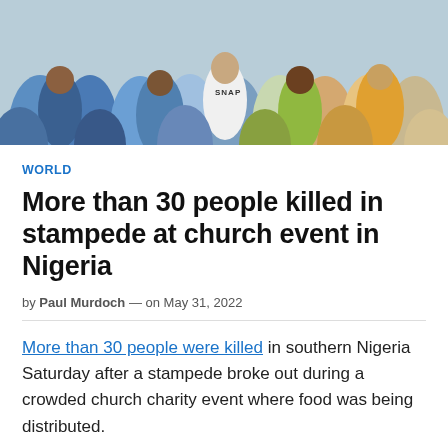[Figure (photo): Crowd of people at an outdoor gathering in Nigeria, visible from above showing heads and colorful clothing]
WORLD
More than 30 people killed in stampede at church event in Nigeria
by Paul Murdoch — on May 31, 2022
More than 30 people were killed in southern Nigeria Saturday after a stampede broke out during a crowded church charity event where food was being distributed.